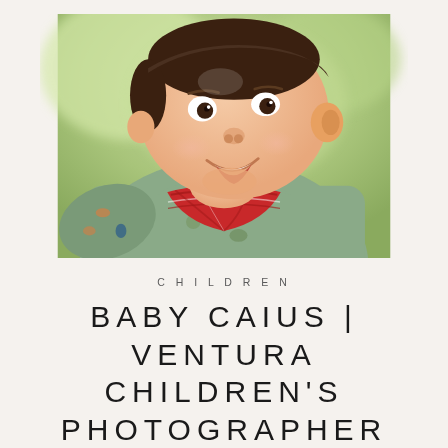[Figure (photo): Close-up photo of a smiling baby wearing a sage green sweatshirt with animal prints and a red plaid bandana/bib around their neck. The baby has dark hair and is photographed outdoors with a blurred green background.]
CHILDREN
BABY CAIUS | VENTURA CHILDREN'S PHOTOGRAPHER